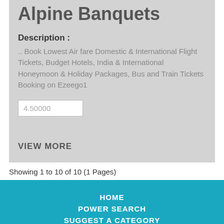Alpine Banquets
Description :
.. Book Lowest Air fare Domestic & International Flight Tickets, Budget Hotels, India & International Honeymoon & Holiday Packages, Bus and Train Tickets Booking on Ezeego1
4.50000
VIEW MORE
Showing 1 to 10 of 10 (1 Pages)
HOME
POWER SEARCH
SUGGEST A CATEGORY
COPYRIGHT @ 2011-2022 GOTODIRECTORY.ORG